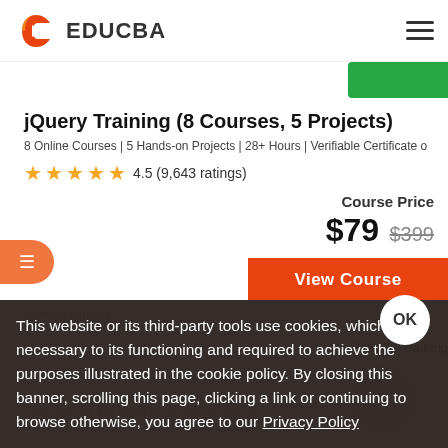EDUCBA
jQuery Training (8 Courses, 5 Projects)
8 Online Courses | 5 Hands-on Projects | 28+ Hours | Verifiable Certificate o
★★★★★ 4.5 (9,643 ratings)
Course Price
$79 $399
View Course
This website or its third-party tools use cookies, which are necessary to its functioning and required to achieve the purposes illustrated in the cookie policy. By closing this banner, scrolling this page, clicking a link or continuing to browse otherwise, you agree to our Privacy Policy